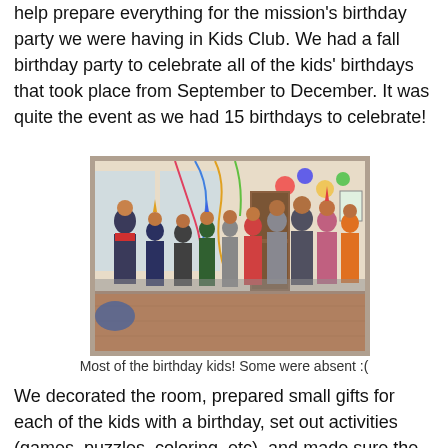help prepare everything for the mission's birthday party we were having in Kids Club. We had a fall birthday party to celebrate all of the kids' birthdays that took place from September to December. It was quite the event as we had 15 birthdays to celebrate!
[Figure (photo): Group photo of children standing in a line at a birthday party indoors, wearing party hats, with colorful decorations visible in the background.]
Most of the birthday kids! Some were absent :(
We decorated the room, prepared small gifts for each of the kids with a birthday, set out activities (games, puzzles, coloring, etc), and made sure the cake was ready. The lovely ladies who work in the kitchen made a delicious cake for all of us to enjoy. Kinga (one of the social workers) has friends